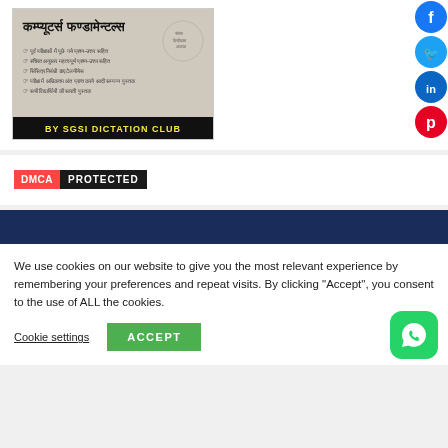[Figure (screenshot): Book cover image for 'Computer Fundamentals' in Hindi by SGSI Dictation Club with bullet points and a publisher stamp]
[Figure (logo): DMCA Protected badge with red DMCA text on left and white PROTECTED text on dark background]
[Figure (infographic): Social media icons - Facebook (blue circle), Twitter (cyan circle), LinkedIn (blue circle), Pinterest (red circle) on the right side]
We use cookies on our website to give you the most relevant experience by remembering your preferences and repeat visits. By clicking “Accept”, you consent to the use of ALL the cookies.
Cookie settings
ACCEPT